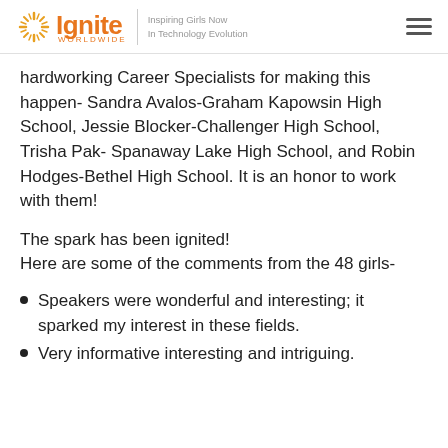Ignite Worldwide — Inspiring Girls Now In Technology Evolution
hardworking Career Specialists for making this happen- Sandra Avalos-Graham Kapowsin High School, Jessie Blocker-Challenger High School, Trisha Pak- Spanaway Lake High School, and Robin Hodges-Bethel High School. It is an honor to work with them!
The spark has been ignited!
Here are some of the comments from the 48 girls-
Speakers were wonderful and interesting; it sparked my interest in these fields.
Very informative interesting and intriguing.